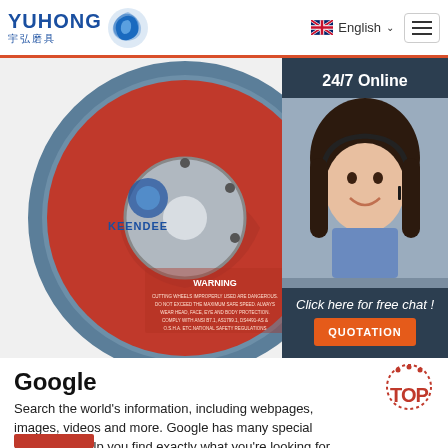YUHONG 宇弘磨具 — English
[Figure (photo): Red and blue grinding/cutting disc (KEENDEE brand, SPEED 80M/S) with WARNING text and barcode on the red face, displayed against a white background. Partially overlapped by a 24/7 Online chat widget showing a smiling woman with headset and a QUOTATION button.]
Google
Search the world's information, including webpages, images, videos and more. Google has many special features to help you find exactly what you're looking for.